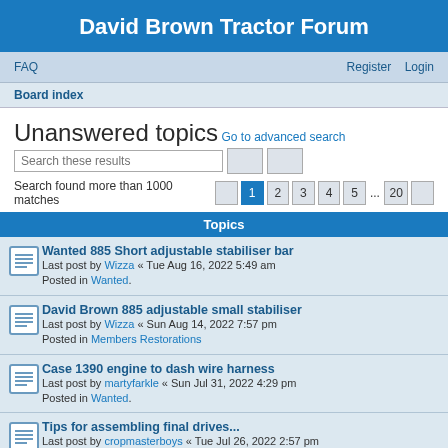David Brown Tractor Forum
FAQ   Register   Login
Board index
Unanswered topics
Go to advanced search
Search these results
Search found more than 1000 matches  [prev] 1 2 3 4 5 ... 20 [next]
Topics
Wanted 885 Short adjustable stabiliser bar
Last post by Wizza « Tue Aug 16, 2022 5:49 am
Posted in Wanted.
David Brown 885 adjustable small stabiliser
Last post by Wizza « Sun Aug 14, 2022 7:57 pm
Posted in Members Restorations
Case 1390 engine to dash wire harness
Last post by martyfarkle « Sun Jul 31, 2022 4:29 pm
Posted in Wanted.
Tips for assembling final drives...
Last post by cropmasterboys « Tue Jul 26, 2022 2:57 pm
Posted in David Brown Tractor Forum